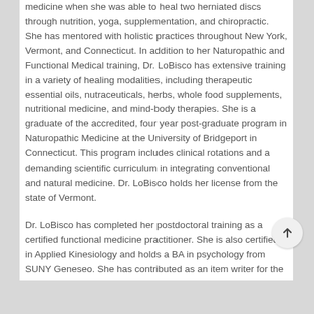medicine when she was able to heal two herniated discs through nutrition, yoga, supplementation, and chiropractic. She has mentored with holistic practices throughout New York, Vermont, and Connecticut. In addition to her Naturopathic and Functional Medical training, Dr. LoBisco has extensive training in a variety of healing modalities, including therapeutic essential oils, nutraceuticals, herbs, whole food supplements, nutritional medicine, and mind-body therapies. She is a graduate of the accredited, four year post-graduate program in Naturopathic Medicine at the University of Bridgeport in Connecticut. This program includes clinical rotations and a demanding scientific curriculum in integrating conventional and natural medicine. Dr. LoBisco holds her license from the state of Vermont.
Dr. LoBisco has completed her postdoctoral training as a certified functional medicine practitioner. She is also certified in Applied Kinesiology and holds a BA in psychology from SUNY Geneseo. She has contributed as an item writer for the North American Board of Naturopathic Examiners (NABNE)and has several articles that have been published in the Naturopathic